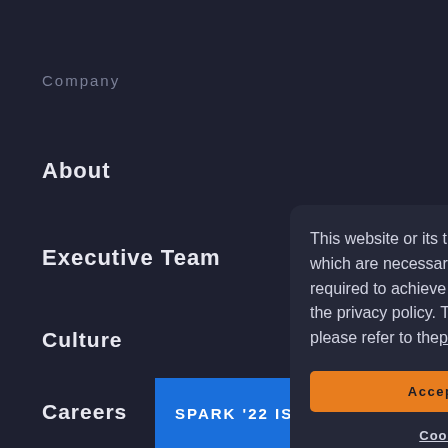Company
About
Executive Team
Culture
Careers
Partnerships
Contact
Develo
[Figure (screenshot): Cookie consent modal dialog with orange Accept All Cookies button and Cookies Settings link]
This website or its third party tools use cookies, which are necessary to its functioning and required to achieve the purposes illustrated in the privacy policy. To learn more about cookies, please refer to theprivacy policy.
Accept All Cookies
Cookies Settings
SPARK '22 IS S